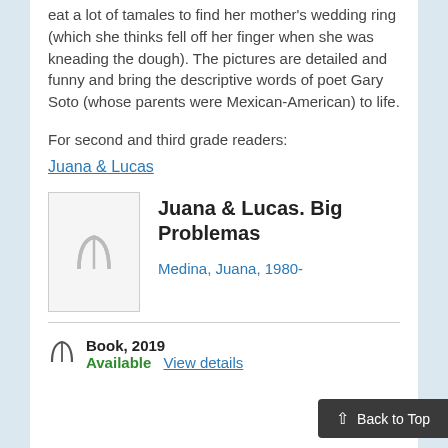eat a lot of tamales to find her mother's wedding ring (which she thinks fell off her finger when she was kneading the dough). The pictures are detailed and funny and bring the descriptive words of poet Gary Soto (whose parents were Mexican-American) to life.
For second and third grade readers:
Juana & Lucas
Juana & Lucas. Big Problemas
Medina, Juana, 1980-
Book, 2019
Available  View details